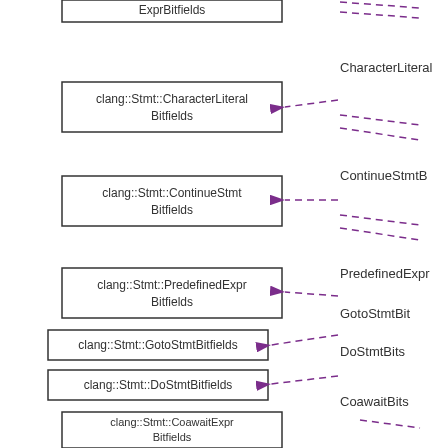[Figure (engineering-diagram): UML-style class diagram fragment showing clang::Stmt bitfield structs with dashed purple arrows pointing from right-side labels to left-side boxes. Boxes: ExprBitfields (partial, top), clang::Stmt::CharacterLiteralBitfields, clang::Stmt::ContinueStmtBitfields, clang::Stmt::PredefinedExprBitfields, clang::Stmt::GotoStmtBitfields, clang::Stmt::DoStmtBitfields, clang::Stmt::CoawaitExprBitfields, clang::Stmt::CXXScalarValueInitExprBitfields (partial, bottom). Right-side labels (partially visible): CharacterLiteral, ContinueStmtB, PredefinedExpr, GotoStmtBit, DoStmtBits, CoawaitBits, CXXScalarValueInitE.]